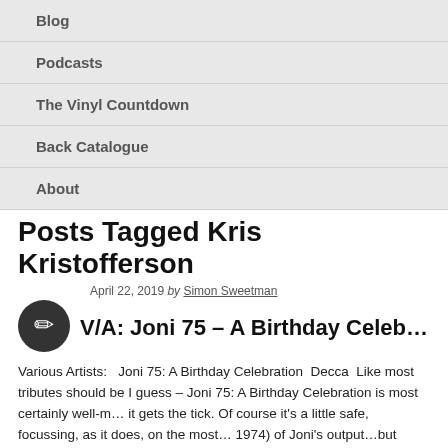Blog
Podcasts
The Vinyl Countdown
Back Catalogue
About
Posts Tagged Kris Kristofferson
April 22, 2019 by Simon Sweetman
V/A: Joni 75 – A Birthday Celebra…
Various Artists:   Joni 75: A Birthday Celebration  Decca  Like most tributes should be I guess – Joni 75: A Birthday Celebration is most certainly well-m… it gets the tick. Of course it's a little safe, focussing, as it does, on the most… 1974) of Joni's output…but there are little glimpses of utter magic, […]
Posted in Blog, Reviews · Tagged A Birthday Celebration, Album Review, Brandi Carlile, C… Harris, Glen Hansard, Graham Nash, https://www.amazon.com/Joni-75-Celebration-Va…